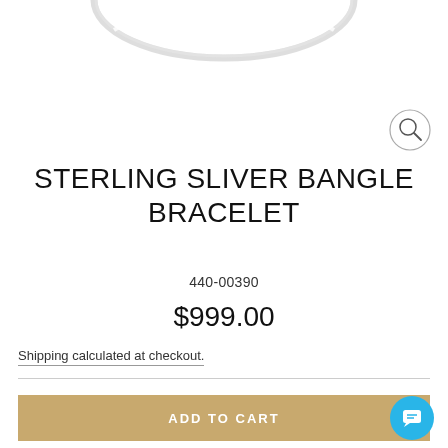[Figure (photo): Partial view of a sterling silver bangle bracelet product photo on white background]
STERLING SLIVER BANGLE BRACELET
440-00390
$999.00
Shipping calculated at checkout.
ADD TO CART